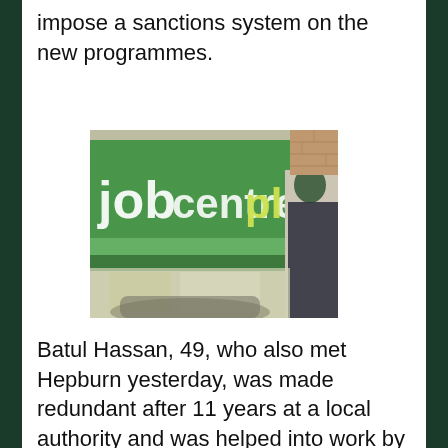impose a sanctions system on the new programmes.
[Figure (photo): Photograph of a Jobcentre Plus sign (green background with white and yellow text reading 'jobcentreplus') with a person visible in the background outside the building.]
Batul Hassan, 49, who also met Hepburn yesterday, was made redundant after 11 years at a local authority and was helped into work by Remploy.